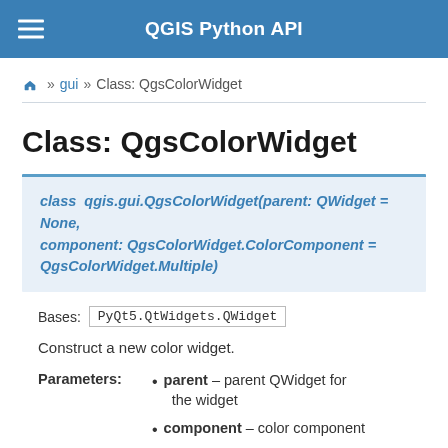QGIS Python API
⌂ » gui » Class: QgsColorWidget
Class: QgsColorWidget
class qgis.gui.QgsColorWidget(parent: QWidget = None, component: QgsColorWidget.ColorComponent = QgsColorWidget.Multiple)
Bases: PyQt5.QtWidgets.QWidget
Construct a new color widget.
Parameters: parent – parent QWidget for the widget
component – color component